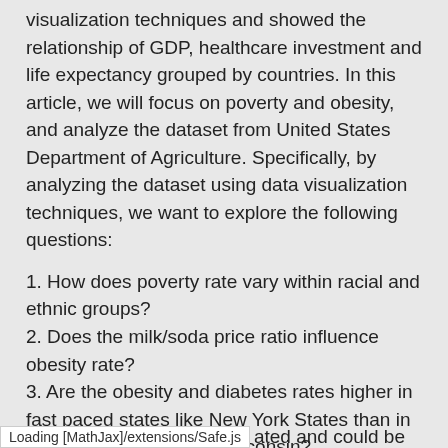visualization techniques and showed the relationship of GDP, healthcare investment and life expectancy grouped by countries. In this article, we will focus on poverty and obesity, and analyze the dataset from United States Department of Agriculture. Specifically, by analyzing the dataset using data visualization techniques, we want to explore the following questions:
1. How does poverty rate vary within racial and ethnic groups?
2. Does the milk/soda price ratio influence obesity rate?
3. Are the obesity and diabetes rates higher in fast paced states like New York States than in agricultural states like Wisconsin?
ated and could be